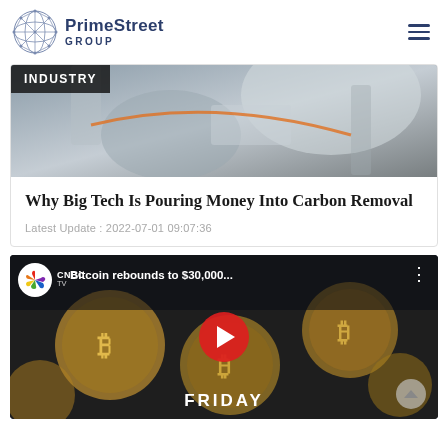[Figure (logo): PrimeStreet Group logo with geometric sphere icon and text 'PrimeStreet GROUP']
[Figure (photo): Industrial/engineering equipment photo with 'INDUSTRY' badge overlay]
Why Big Tech Is Pouring Money Into Carbon Removal
Latest Update : 2022-07-01 09:07:36
[Figure (screenshot): YouTube video thumbnail from CNBC TV: 'Bitcoin rebounds to $30,000...' with play button and FRIDAY text at bottom]